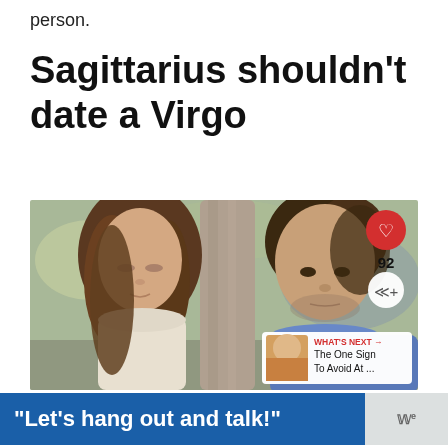person.
Sagittarius shouldn't date a Virgo
[Figure (photo): A couple appearing to be in conflict outdoors near a tree. A woman with long brown hair looks down, and a man with dark curly hair looks toward her with a serious expression. Social media UI overlays show a heart/like button (92 likes), a share button, and a 'What's Next' preview panel showing 'The One Sign To Avoid At ...']
“Let’s hang out and talk!”